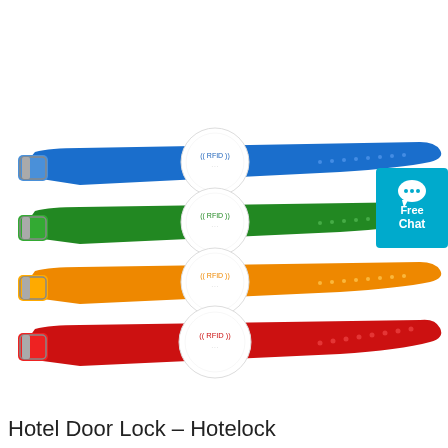[Figure (photo): Four RFID silicone wristbands in blue, green, orange, and red colors, each with a white circular RFID chip disc at the center labeled '((RFID))'. The bands are stacked diagonally. A cyan/blue 'Free Chat' button with a chat icon appears in the upper right corner.]
Hotel Door Lock – Hotelock